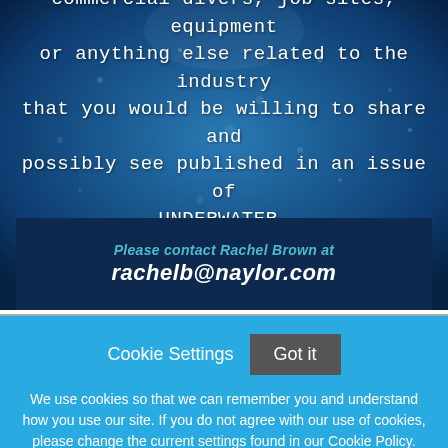[Figure (illustration): Underwater blue bokeh background with white handwritten-style text about commercial divers and UNDERWATER magazine, with a dark navy contact banner at the bottom showing Rachel Brown's email.]
commercial divers, job sites, equipment or anything else related to the industry that you would be willing to share and possibly see published in an issue of UNDERWATER,
Please contact Rachel Brown at rachelb@naylor.com
Cookie Settings  Got it

We use cookies so that we can remember you and understand how you use our site. If you do not agree with our use of cookies, please change the current settings found in our Cookie Policy. Otherwise, you agree to the use of the cookies as they are currently set.